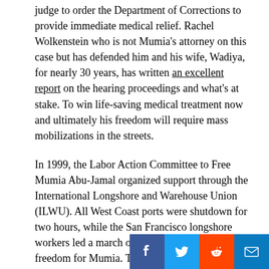judge to order the Department of Corrections to provide immediate medical relief. Rachel Wolkenstein who is not Mumia's attorney on this case but has defended him and his wife, Wadiya, for nearly 30 years, has written an excellent report on the hearing proceedings and what's at stake. To win life-saving medical treatment now and ultimately his freedom will require mass mobilizations in the streets.
In 1999, the Labor Action Committee to Free Mumia Abu-Jamal organized support through the International Longshore and Warehouse Union (ILWU). All West Coast ports were shutdown for two hours, while the San Francisco longshore workers led a march of 25,000 to demand freedom for Mumia. This is the kind of action needed to save Mumia now.
This week, the Japanese Railway Union, Doro Chiba, sent a letter calling for Hepatitis C treatment and protesting his frame-up, imprisonment and...